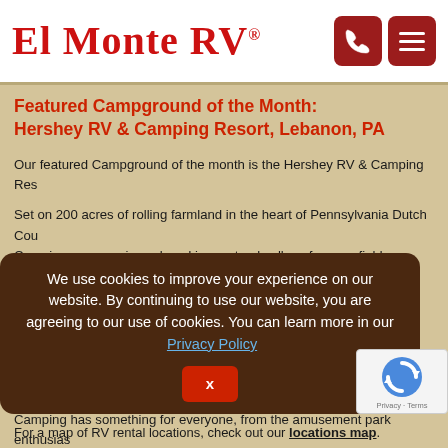EL MONTE RV®
Featured Campground of the Month:
Hershey RV & Camping Resort, Lebanon, PA
Our featured Campground of the month is the Hershey RV & Camping Res...
Set on 200 acres of rolling farmland in the heart of Pennsylvania Dutch Cou... Camping preserve is enclosed in a natural valley of grassy fields, sloping d... lake. Six miles away is Hershey's Chocolate World (rides and live entertain... many golf courses and 3 major outlet centers. Nearby their Thousand Trails... Country RV campground are also Amish settlements and the Indian Echo C... Camping has something for everyone, from the amusement park enthusias...
...volleyball, shufflebo... ...s and more!
...round.
...off the ... Use R...
We use cookies to improve your experience on our website. By continuing to use our website, you are agreeing to our use of cookies. You can learn more in our Privacy Policy
For a map of RV rental locations, check out our locations map.